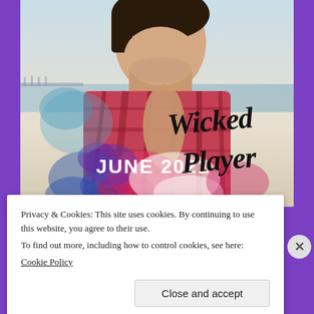[Figure (illustration): Book cover image for 'Wicked Player' (June 2021). Shows a young man with dark hair wearing an open plaid shirt at a beach, with artistic ink/watercolor overlay in blues, pinks, and reds. The title 'Wicked Player' is written in cursive black script on the right side, and 'JUNE 2021' appears in bold white block letters on the lower left.]
Privacy & Cookies: This site uses cookies. By continuing to use this website, you agree to their use.
To find out more, including how to control cookies, see here:
Cookie Policy
Close and accept
Build a better web and a better world.